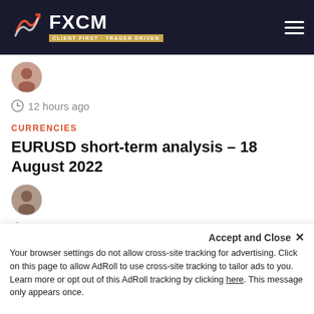FXCM - CLIENT FIRST · TRADER DRIVEN
Strange Turkish central bank monetary policy drives lira's downcompounds the threat of hyperinflation
12 hours ago
CURRENCIES
EURUSD short-term analysis – 18 August 2022
17 hours ago
CURRENCIES
USDOLLAR loses correlation with interest
Accept and Close ✕
Your browser settings do not allow cross-site tracking for advertising. Click on this page to allow AdRoll to use cross-site tracking to tailor ads to you. Learn more or opt out of this AdRoll tracking by clicking here. This message only appears once.